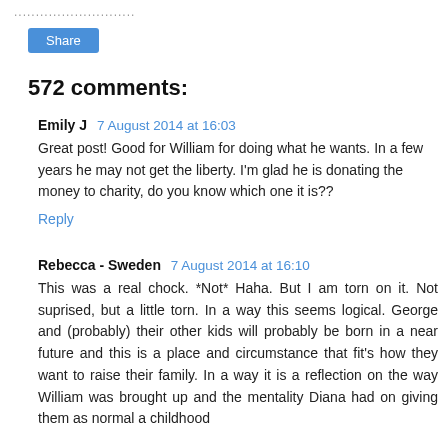............................
Share
572 comments:
Emily J  7 August 2014 at 16:03
Great post! Good for William for doing what he wants. In a few years he may not get the liberty. I'm glad he is donating the money to charity, do you know which one it is??
Reply
Rebecca - Sweden  7 August 2014 at 16:10
This was a real chock. *Not* Haha. But I am torn on it. Not suprised, but a little torn. In a way this seems logical. George and (probably) their other kids will probably be born in a near future and this is a place and circumstance that fit's how they want to raise their family. In a way it is a reflection on the way William was brought up and the mentality Diana had on giving them as normal a childhood